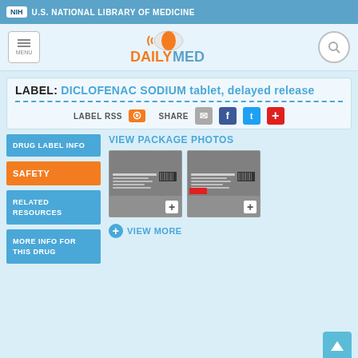NIH U.S. NATIONAL LIBRARY OF MEDICINE
[Figure (logo): DailyMed logo with pill icon]
LABEL: DICLOFENAC SODIUM tablet, delayed release
LABEL RSS  SHARE
VIEW PACKAGE PHOTOS
[Figure (photo): Package photo 1 of Diclofenac Sodium tablet]
[Figure (photo): Package photo 2 of Diclofenac Sodium tablet]
VIEW MORE
DRUG LABEL INFO
SAFETY
RELATED RESOURCES
MORE INFO FOR THIS DRUG